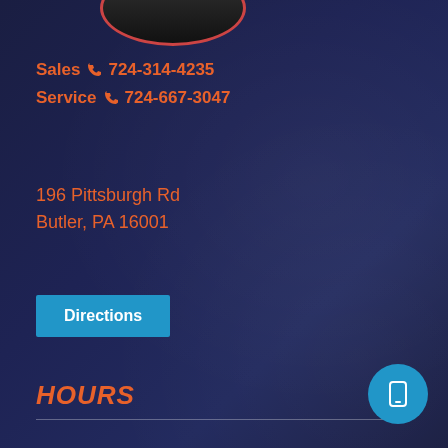[Figure (logo): Circular logo/badge at top, dark with reddish border]
Sales 724-314-4235
Service 724-667-3047
196 Pittsburgh Rd
Butler, PA 16001
Directions
HOURS
| Day | Sales | Service |
| --- | --- | --- |
| Monday | 10AM - 3PM | 10AM - 3PM |
| Tuesday | 9AM - 5PM | 9AM - 5PM |
| Wednesday | 9AM - 5PM | 9AM - 5PM |